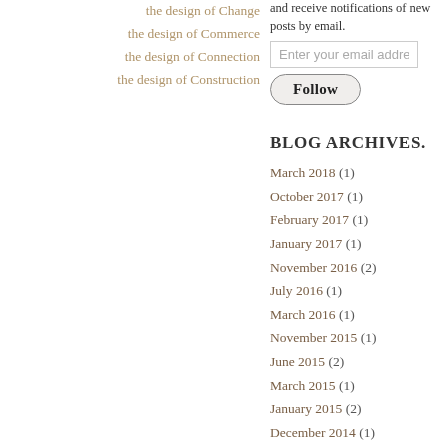the design of Change
the design of Commerce
the design of Connection
the design of Construction
and receive notifications of new posts by email.
Enter your email address
Follow
BLOG ARCHIVES.
March 2018 (1)
October 2017 (1)
February 2017 (1)
January 2017 (1)
November 2016 (2)
July 2016 (1)
March 2016 (1)
November 2015 (1)
June 2015 (2)
March 2015 (1)
January 2015 (2)
December 2014 (1)
November 2014 (1)
October 2014 (1)